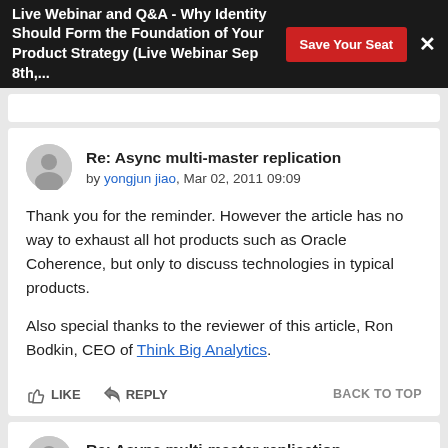Live Webinar and Q&A - Why Identity Should Form the Foundation of Your Product Strategy (Live Webinar Sep 8th,...
Re: Async multi-master replication
by yongjun jiao, Mar 02, 2011 09:09
Thank you for the reminder. However the article has no way to exhaust all hot products such as Oracle Coherence, but only to discuss technologies in typical products.
Also special thanks to the reviewer of this article, Ron Bodkin, CEO of Think Big Analytics.
Re: Async multi-master replication